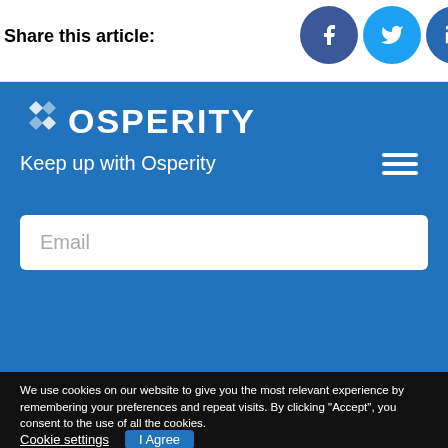Share this article:
[Figure (screenshot): Social share icons for Facebook, Twitter, and LinkedIn]
[Figure (logo): Osperity logo with diamond icon and text OSPERITY on blue background]
Keep up with Osperity
Email
We use cookies on our website to give you the most relevant experience by remembering your preferences and repeat visits. By clicking “Accept”, you consent to the use of all the cookies.
Cookie settings
I Agree